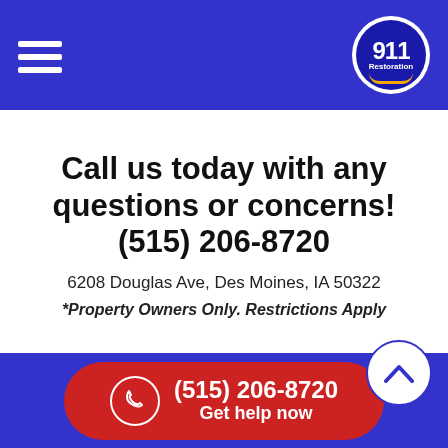911 Restoration
Call us today with any questions or concerns! (515) 206-8720
6208 Douglas Ave, Des Moines, IA 50322
*Property Owners Only. Restrictions Apply
Site designed & programmed by Milestone SEO 2022 911 Restoration Inc.
(515) 206-8720 Get help now